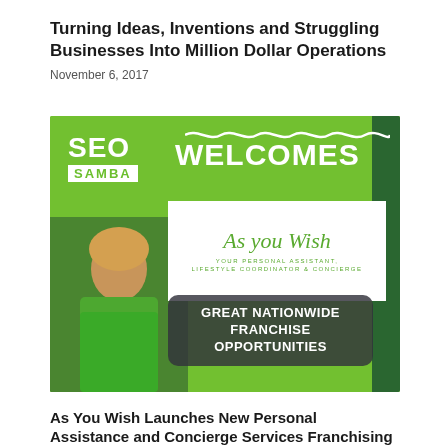Turning Ideas, Inventions and Struggling Businesses Into Million Dollar Operations
November 6, 2017
[Figure (illustration): SEO Samba welcomes 'As You Wish – Your Personal Assistant, Lifestyle Coordinator & Concierge' franchise. Green background banner with woman in green hoodie holding shopping bags, white card with cursive 'As you Wish' text, and a dark rounded box reading 'GREAT NATIONWIDE FRANCHISE OPPORTUNITIES'.]
As You Wish Launches New Personal Assistance and Concierge Services Franchising Website